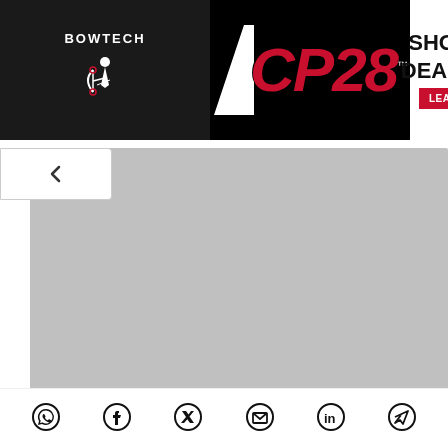[Figure (screenshot): Bowtech CP28 advertisement banner. Black background on left with Bowtech logo and archer silhouette, large red CP28 text in center, white panel on right with 'SHORTER. DEADLIER.' text and red 'LEARN MORE' button.]
[Figure (photo): Gray placeholder image area for an article photo, light gray background.]
Finding community market fit: Here is how
[Figure (screenshot): Social sharing icons row: WhatsApp, Facebook, Twitter/X, Email, LinkedIn, Telegram]